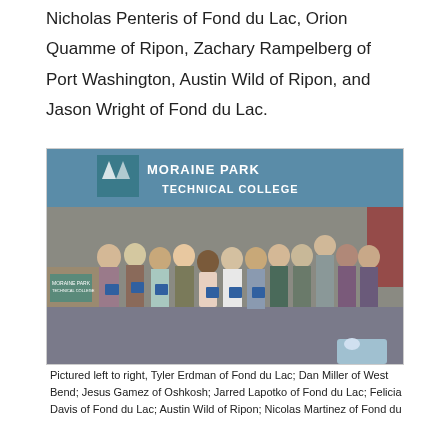Nicholas Penteris of Fond du Lac, Orion Quamme of Ripon, Zachary Rampelberg of Port Washington, Austin Wild of Ripon, and Jason Wright of Fond du Lac.
[Figure (photo): Group photo of students and faculty at Moraine Park Technical College, standing in front of a banner. Several people are holding blue folders/certificates.]
Pictured left to right, Tyler Erdman of Fond du Lac; Dan Miller of West Bend; Jesus Gamez of Oshkosh; Jarred Lapotko of Fond du Lac; Felicia Davis of Fond du Lac; Austin Wild of Ripon; Nicolas Martinez of Fond du